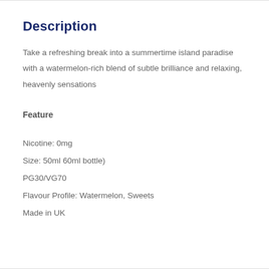Description
Take a refreshing break into a summertime island paradise with a watermelon-rich blend of subtle brilliance and relaxing, heavenly sensations
Feature
Nicotine: 0mg
Size: 50ml 60ml bottle)
PG30/VG70
Flavour Profile: Watermelon, Sweets
Made in UK